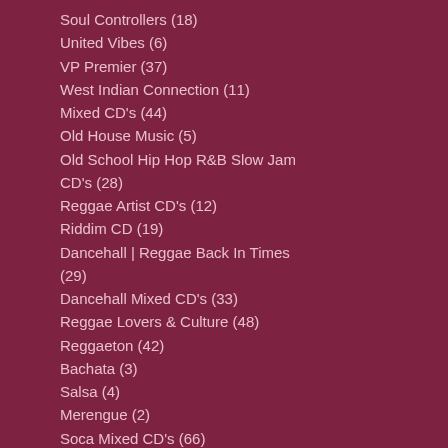Soul Controllers (18)
United Vibes (6)
VP Premier (37)
West Indian Connection (11)
Mixed CD's (44)
Old House Music (5)
Old School Hip Hop R&B Slow Jam CD's (28)
Reggae Artist CD's (12)
Riddim CD (19)
Dancehall | Reggae Back In Times (29)
Dancehall Mixed CD's (33)
Reggae Lovers & Culture (48)
Reggaeton (42)
Bachata (3)
Salsa (4)
Merengue (2)
Soca Mixed CD's (66)
Byron Lee (9)
Soca Back In Time Mixed CD (12)
Soca Artist CD's (67)